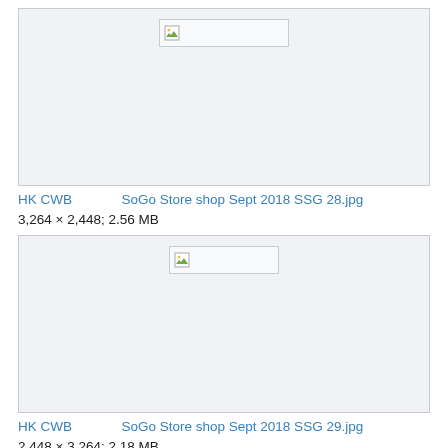[Figure (photo): Broken image placeholder for HK CWB SoGo Store shop Sept 2018 SSG 28.jpg]
HK CWB 　　　　 SoGo Store shop Sept 2018 SSG 28.jpg
3,264 × 2,448; 2.56 MB
[Figure (photo): Broken image placeholder for HK CWB SoGo Store shop Sept 2018 SSG 29.jpg]
HK CWB 　　　　 SoGo Store shop Sept 2018 SSG 29.jpg
2,448 × 3,264; 2.18 MB